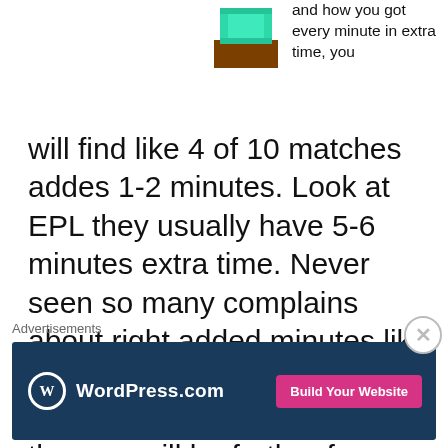[Figure (illustration): Pixel art icon showing a brown base with a green/teal square shape on top, resembling a retro game or app icon]
and how you got every minute in extra time, you will find like 4 of 10 matches addes 1-2 minutes. Look at EPL they usually have 5-6 minutes extra time. Never seen so many complains about right added minutes like in this match. No one wanted Real to get La Decima cause the way will be further for other team to get 10 cups. Well it's understandable. It wont be easy.
Advertisements
[Figure (screenshot): WordPress.com advertisement banner with dark blue background, WordPress logo on left, and pink 'Build Your Website' button on right]